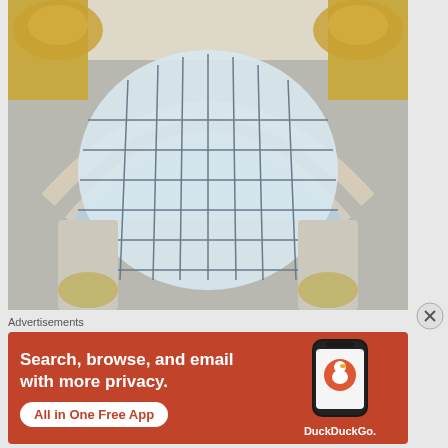[Figure (photo): Interior architectural photo showing a large arched Palladian window with iron grid panes, flanked by ornate gilded decorative moldings and classical columns, in what appears to be a grand public building such as a museum or government hall.]
Advertisements
[Figure (other): DuckDuckGo advertisement banner with orange/red background. Text reads: Search, browse, and email with more privacy. All in One Free App. Shows a phone mockup with DuckDuckGo logo and wordmark.]